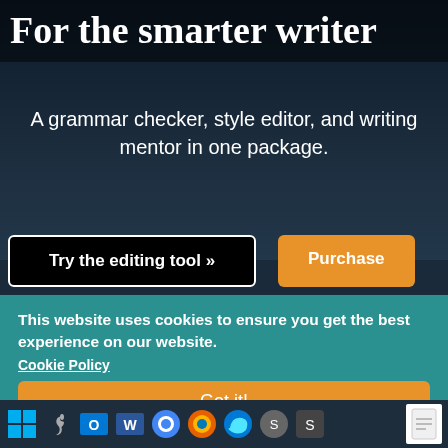For the smarter writer
A grammar checker, style editor, and writing mentor in one package.
Try the editing tool »
Purchase
This website uses cookies to ensure you get the best experience on our website.
Cookie Policy
Got it!
Or, get along with one of our premium software integrations.
[Figure (screenshot): Row of application/browser icons at the bottom including Windows, Apple, Microsoft Office, Word, Chrome, Firefox, Edge, and other software icons, plus a white document icon.]